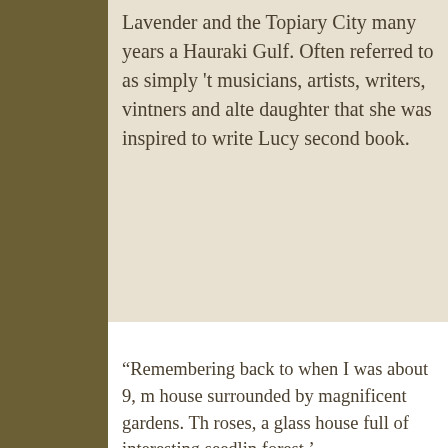Lavender and the Topiary City many years a Hauraki Gulf. Often referred to as simply 't musicians, artists, writers, vintners and alte daughter that she was inspired to write Lucy second book.
“Remembering back to when I was about 9, m house surrounded by magnificent gardens. Th roses, a glass house full of interesting seedlin forest.’
The forest was full of gigantic native trees—t tracking through silver ferns. At night you cou the deafening sound of bird song.
At the front of the house leading off a circular sit on those steps and think about stuff. On ea marks punched into the earth were two plants
They were striking looking specimens, bees w